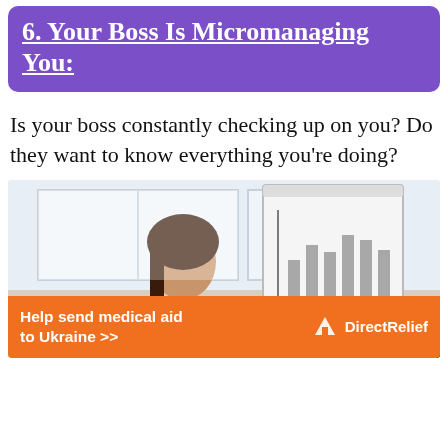6. Your Boss Is Micromanaging You:
Is your boss constantly checking up on you? Do they want to know everything you're doing?
[Figure (photo): A woman in a green shirt presenting at a whiteboard with a chart, while another person watches from the foreground.]
Help send medical aid to Ukraine >> DirectRelief